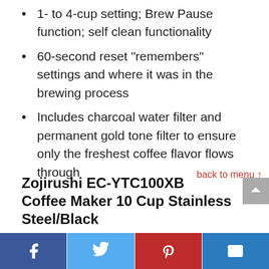1- to 4-cup setting; Brew Pause function; self clean functionality
60-second reset "remembers" settings and where it was in the brewing process
Includes charcoal water filter and permanent gold tone filter to ensure only the freshest coffee flavor flows through
back to menu ↑
Zojirushi EC-YTC100XB Coffee Maker 10 Cup Stainless Steel/Black